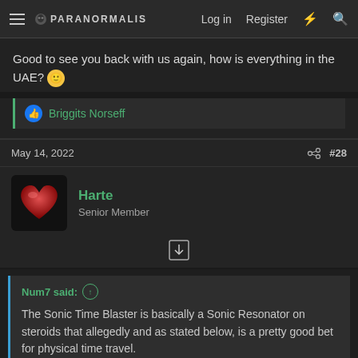PARANORMALIS | Log in | Register
Good to see you back with us again, how is everything in the UAE? 🙂
👍 Briggits Norseff
May 14, 2022  #28
Harte
Senior Member
Num7 said: ↑

The Sonic Time Blaster is basically a Sonic Resonator on steroids that allegedly and as stated below, is a pretty good bet for physical time travel.